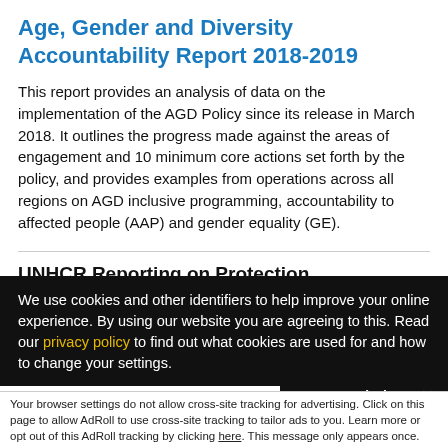Age, Gender and Diversity Accountability Report 2018-2019
This report provides an analysis of data on the implementation of the AGD Policy since its release in March 2018. It outlines the progress made against the areas of engagement and 10 minimum core actions set forth by the policy, and provides examples from operations across all regions on AGD inclusive programming, accountability to affected people (AAP) and gender equality (GE).
UNHCR Reporting on Protection
We use cookies and other identifiers to help improve your online experience. By using our website you are agreeing to this. Read our privacy policy to find out what cookies are used for and how to change your settings.
Accept and Close ✕
Your browser settings do not allow cross-site tracking for advertising. Click on this page to allow AdRoll to use cross-site tracking to tailor ads to you. Learn more or opt out of this AdRoll tracking by clicking here. This message only appears once.